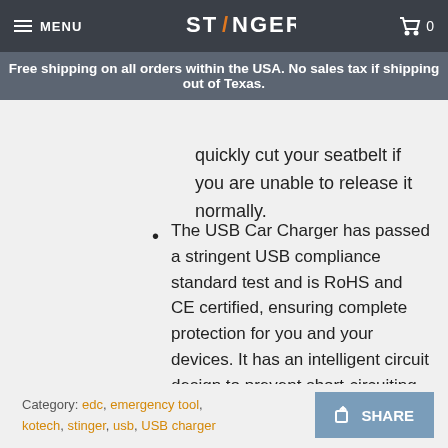MENU | STINGER | Cart 0
Free shipping on all orders within the USA. No sales tax if shipping out of Texas.
quickly cut your seatbelt if you are unable to release it normally.
The USB Car Charger has passed a stringent USB compliance standard test and is RoHS and CE certified, ensuring complete protection for you and your devices. It has an intelligent circuit design to prevent short-circuiting, overheating, overcurrent, and overcharging. The emergency escape tool has a 12-24V input and a 5V, 2.4A output.
Category: edc, emergency tool, kotech, stinger, usb, USB charger